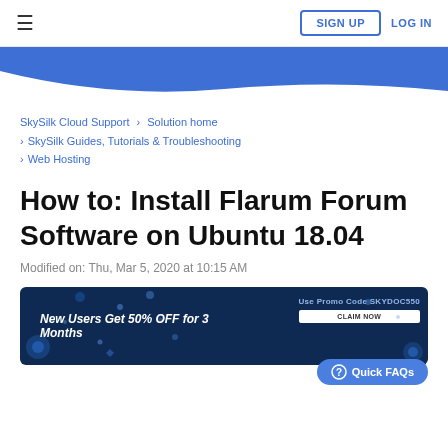≡  SIGN UP  LOG IN
[Figure (illustration): Blue wave banner header background]
SkySilk Cloud Support › Solution home › SkySilk Guides, Tutorials & Troubleshooting › Web Hosting
How to: Install Flarum Forum Software on Ubuntu 18.04
Modified on: Thu, Mar 5, 2020 at 10:15 AM
[Figure (infographic): Dark blue promotional banner: New Users Get 50% OFF for 3 Months. Use Promo Code SKYDOC550. CLAIM NOW button. Quick FAQs button.]